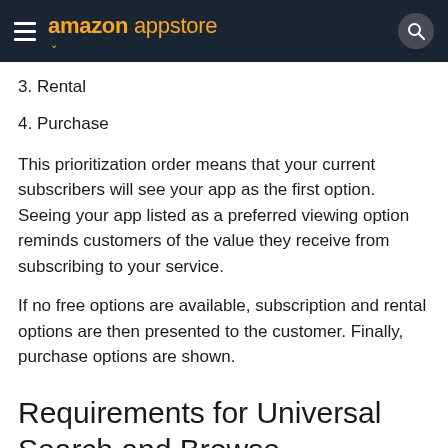amazon appstore
3. Rental
4. Purchase
This prioritization order means that your current subscribers will see your app as the first option. Seeing your app listed as a preferred viewing option reminds customers of the value they receive from subscribing to your service.
If no free options are available, subscription and rental options are then presented to the customer. Finally, purchase options are shown.
Requirements for Universal Search and Browse